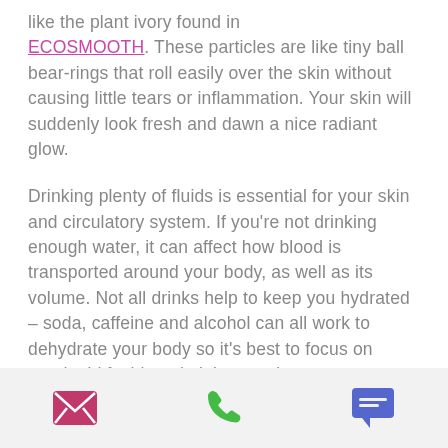like the plant ivory found in ECOSMOOTH. These particles are like tiny ball bear-rings that roll easily over the skin without causing little tears or inflammation. Your skin will suddenly look fresh and dawn a nice radiant glow.

Drinking plenty of fluids is essential for your skin and circulatory system. If you're not drinking enough water, it can affect how blood is transported around your body, as well as its volume. Not all drinks help to keep you hydrated – soda, caffeine and alcohol can all work to dehydrate your body so it's best to focus on good, old fashioned plain water!
[Figure (infographic): Footer bar with three icons: envelope (email), phone handset (green), and speech bubble (blue/purple)]